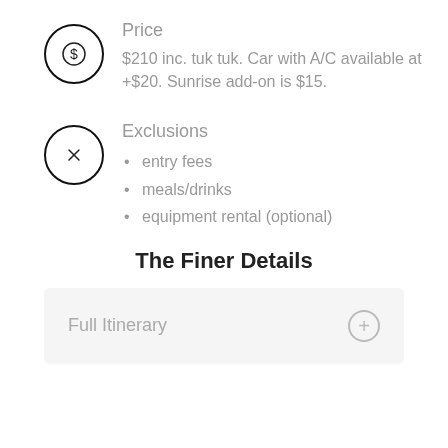Price
$210 inc. tuk tuk. Car with A/C available at +$20. Sunrise add-on is $15.
Exclusions
entry fees
meals/drinks
equipment rental (optional)
The Finer Details
Full Itinerary